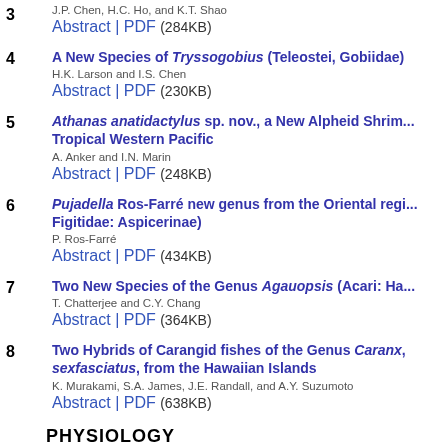3 J.P. Chen, H.C. Ho, and K.T. Shao
Abstract | PDF (284KB)
4 A New Species of Tryssogobius (Teleostei, Gobiidae)
H.K. Larson and I.S. Chen
Abstract | PDF (230KB)
5 Athanas anatidactylus sp. nov., a New Alpheid Shrim... Tropical Western Pacific
A. Anker and I.N. Marin
Abstract | PDF (248KB)
6 Pujadella Ros-Farré new genus from the Oriental regi... Figitidae: Aspicerinae)
P. Ros-Farré
Abstract | PDF (434KB)
7 Two New Species of the Genus Agauopsis (Acari: Ha...
T. Chatterjee and C.Y. Chang
Abstract | PDF (364KB)
8 Two Hybrids of Carangid fishes of the Genus Caranx, sexfasciatus, from the Hawaiian Islands
K. Murakami, S.A. James, J.E. Randall, and A.Y. Suzumoto
Abstract | PDF (638KB)
PHYSIOLOGY